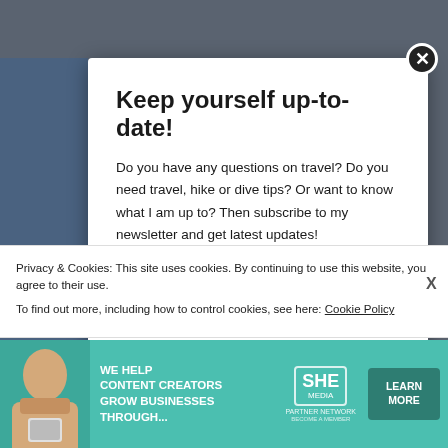[Figure (screenshot): Website popup modal with newsletter signup on a dark background, with cookie consent bar and advertisement banner at bottom]
Keep yourself up-to-date!
Do you have any questions on travel? Do you need travel, hike or dive tips? Or want to know what I am up to? Then subscribe to my newsletter and get latest updates!
Your email address
Privacy & Cookies: This site uses cookies. By continuing to use this website, you agree to their use.
To find out more, including how to control cookies, see here: Cookie Policy
[Figure (infographic): SHE Media Partner Network advertisement banner with woman photo and Learn More button]